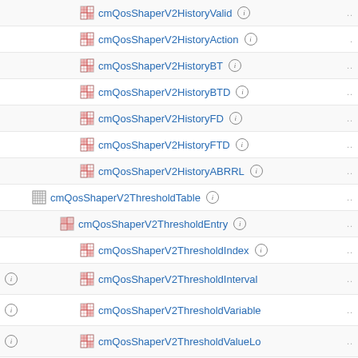cmQosShaperV2HistoryValid
cmQosShaperV2HistoryAction
cmQosShaperV2HistoryBT
cmQosShaperV2HistoryBTD
cmQosShaperV2HistoryFD
cmQosShaperV2HistoryFTD
cmQosShaperV2HistoryABRRL
cmQosShaperV2ThresholdTable
cmQosShaperV2ThresholdEntry
cmQosShaperV2ThresholdIndex
cmQosShaperV2ThresholdInterval
cmQosShaperV2ThresholdVariable
cmQosShaperV2ThresholdValueLo
cmQosShaperV2ThresholdValueHi